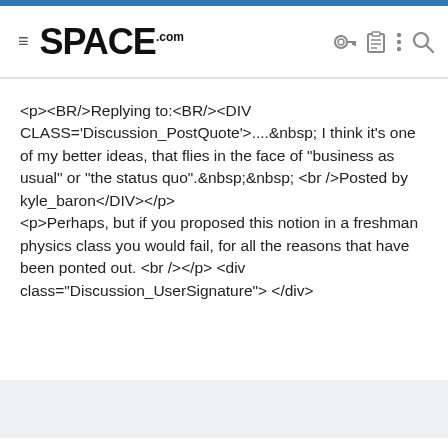SPACE.com
<p><BR/>Replying to:<BR/><DIV CLASS='Discussion_PostQuote'>....&nbsp; I think it's one of my better ideas, that flies in the face of "business as usual" or "the status quo".&nbsp;&nbsp; <br />Posted by kyle_baron</DIV></p> <p>Perhaps, but if you proposed this notion in a freshman physics class you would fail, for all the reasons that have been ponted out. <br /></p> <div class="Discussion_UserSignature"> </div>